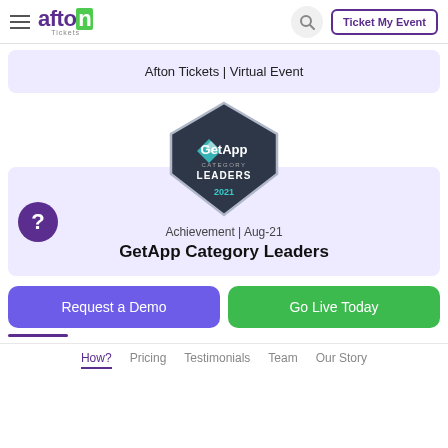afton Tickets | Ticket My Event
Afton Tickets | Virtual Event
[Figure (logo): GetApp Category Leaders 2021 badge - diamond shaped dark badge with teal GetApp logo and text CATEGORY LEADERS 2021]
Achievement | Aug-21
GetApp Category Leaders
Request a Demo
Go Live Today
How?  Pricing  Testimonials  Team  Our Story